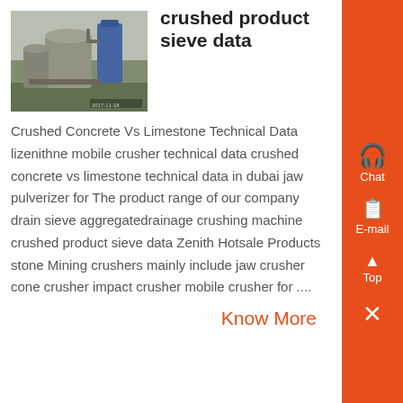[Figure (photo): Industrial crusher/mill facility with large cylindrical equipment and blue dust collector, outdoor industrial plant]
crushed product sieve data
Crushed Concrete Vs Limestone Technical Data lizenithne mobile crusher technical data crushed concrete vs limestone technical data in dubai jaw pulverizer for The product range of our company drain sieve aggregatedrainage crushing machine crushed product sieve data Zenith Hotsale Products stone Mining crushers mainly include jaw crusher cone crusher impact crusher mobile crusher for ....
Know More